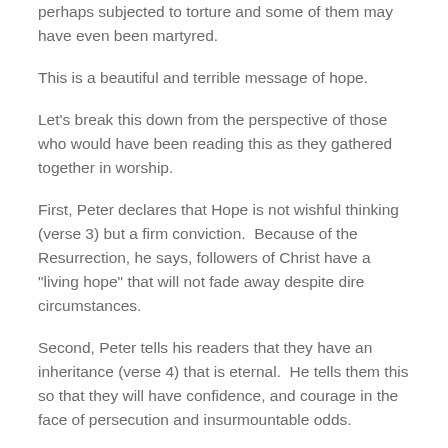perhaps subjected to torture and some of them may have even been martyred.
This is a beautiful and terrible message of hope.
Let's break this down from the perspective of those who would have been reading this as they gathered together in worship.
First, Peter declares that Hope is not wishful thinking (verse 3) but a firm conviction.  Because of the Resurrection, he says, followers of Christ have a "living hope" that will not fade away despite dire circumstances.
Second, Peter tells his readers that they have an inheritance (verse 4) that is eternal.  He tells them this so that they will have confidence, and courage in the face of persecution and insurmountable odds.